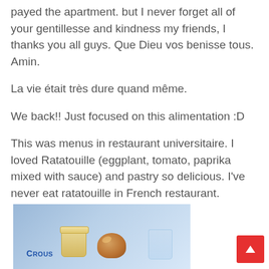payed the apartment. but I never forget all of your gentillesse and kindness my friends, I thanks you all guys. Que Dieu vos benisse tous. Amin.
La vie était très dure quand même.
We back!! Just focused on this alimentation :D
This was menus in restaurant universitaire. I loved Ratatouille (eggplant, tomato, paprika mixed with sauce) and pastry so delicious. I've never eat ratatouille in French restaurant.
[Figure (photo): A cafeteria tray with a pudding cup, a pastry/croissant, and a glass, with a Crous logo visible on the tray, lit with blue-tinted lighting.]